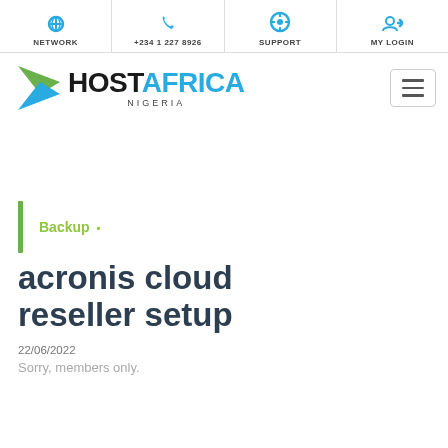NETWORK | +234 1 227 8926 | SUPPORT | MY LOGIN
[Figure (logo): HostAfrica Nigeria logo with green and blue triangle icon and hamburger menu button]
Backup
acronis cloud reseller setup
22/06/2022
Sorry, members only.